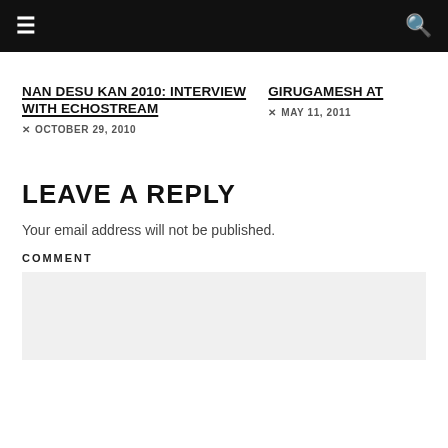≡   🔍
NAN DESU KAN 2010: INTERVIEW WITH ECHOSTREAM
✕  OCTOBER 29, 2010
GIRUGAMESH AT
✕  MAY 11, 2011
LEAVE A REPLY
Your email address will not be published.
COMMENT